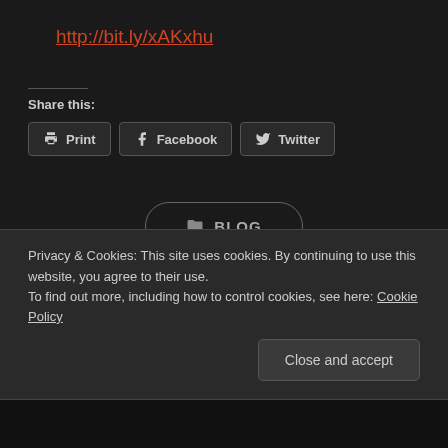http://bit.ly/xAKxhu
Share this:
Print | Facebook | Twitter
BLOG
Privacy & Cookies: This site uses cookies. By continuing to use this website, you agree to their use.
To find out more, including how to control cookies, see here: Cookie Policy
Close and accept